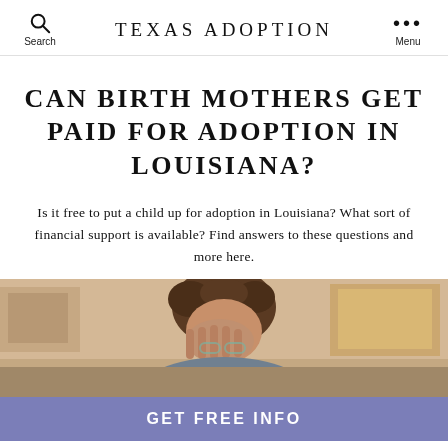TEXAS ADOPTION
CAN BIRTH MOTHERS GET PAID FOR ADOPTION IN LOUISIANA?
Is it free to put a child up for adoption in Louisiana? What sort of financial support is available? Find answers to these questions and more here.
[Figure (photo): A person with curly hair resting their head in their hand, appearing stressed or contemplative, with a blurred indoor background]
GET FREE INFO